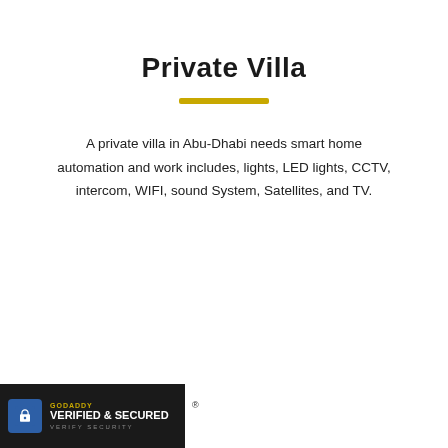Private Villa
A private villa in Abu-Dhabi needs smart home automation and work includes, lights, LED lights, CCTV, intercom, WIFI, sound System, Satellites, and TV.
[Figure (logo): GoDaddy Verified & Secured badge with lock icon on dark background]